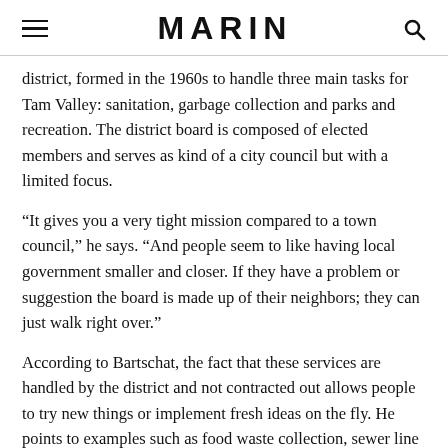MARIN
district, formed in the 1960s to handle three main tasks for Tam Valley: sanitation, garbage collection and parks and recreation. The district board is composed of elected members and serves as kind of a city council but with a limited focus.
“It gives you a very tight mission compared to a town council,” he says. “And people seem to like having local government smaller and closer. If they have a problem or suggestion the board is made up of their neighbors; they can just walk right over.”
According to Bartschat, the fact that these services are handled by the district and not contracted out allows people to try new things or implement fresh ideas on the fly. He points to examples such as food waste collection, sewer line replacement, recycling programs and paper shredding and